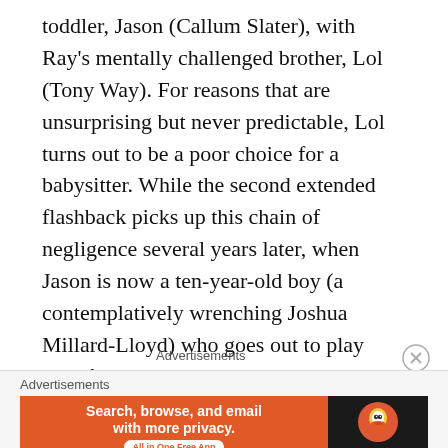toddler, Jason (Callum Slater), with Ray's mentally challenged brother, Lol (Tony Way). For reasons that are unsurprising but never predictable, Lol turns out to be a poor choice for a babysitter. While the second extended flashback picks up this chain of negligence several years later, when Jason is now a ten-year-old boy (a contemplatively wrenching Joshua Millard-Lloyd) who goes out to play with friends one night and doesn't return home, leading to a possible lingering placement in foster care.
Advertisements
[Figure (other): DuckDuckGo advertisement banner: orange left panel with text 'Search, browse, and email with more privacy. All in One Free App' and dark right panel with DuckDuckGo duck logo and 'DuckDuckGo' text]